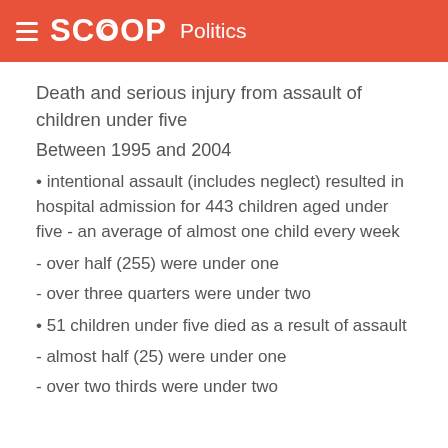SCOOP Politics
Death and serious injury from assault of children under five
Between 1995 and 2004
• intentional assault (includes neglect) resulted in hospital admission for 443 children aged under five - an average of almost one child every week
- over half (255) were under one
- over three quarters were under two
• 51 children under five died as a result of assault
- almost half (25) were under one
- over two thirds were under two